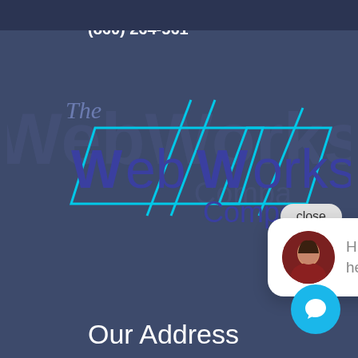[Figure (logo): The WebWorks Company logo with cyan geometric parallelogram outlines and dark blue text on dark blue background]
[Figure (screenshot): Chat popup bubble with close button, avatar photo of a woman, and text 'Hi there, have a question? Text us here.']
info@theweb...
(860) 264-561...
close
Hi there, have a question? Text us here.
Our Address